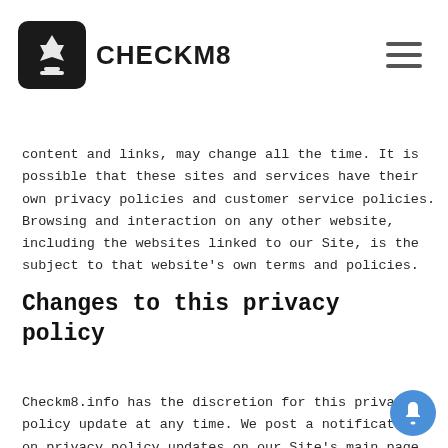CHECKM8
third-party sites or services, including their content and links, may change all the time. It is possible that these sites and services have their own privacy policies and customer service policies. Browsing and interaction on any other website, including the websites linked to our Site, is the subject to that website's own terms and policies.
Changes to this privacy policy
Checkm8.info has the discretion for this privacy policy update at any time. We post a notification on privacy policy updates on our Site's main page